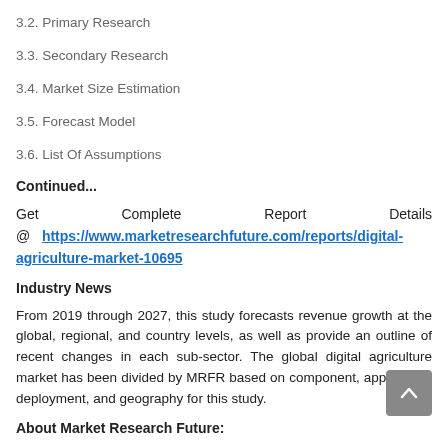3.2. Primary Research
3.3. Secondary Research
3.4. Market Size Estimation
3.5. Forecast Model
3.6. List Of Assumptions
Continued...
Get Complete Report Details @ https://www.marketresearchfuture.com/reports/digital-agriculture-market-10695
Industry News
From 2019 through 2027, this study forecasts revenue growth at the global, regional, and country levels, as well as provide an outline of recent changes in each sub-sector. The global digital agriculture market has been divided by MRFR based on component, application, deployment, and geography for this study.
About Market Research Future: